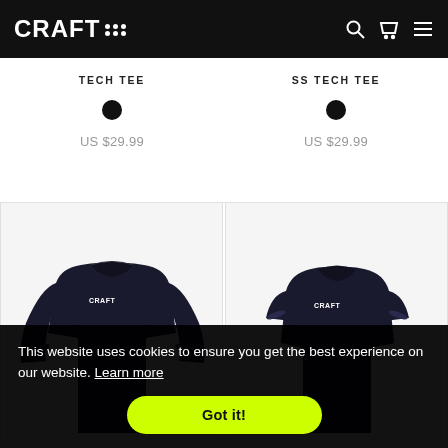[Figure (logo): CRAFT logo with dot pattern, white on black header bar]
TECH TEE
US $29.99
SS TECH TEE
US $29.99
[Figure (photo): Black long-sleeve tech tee shirt on white background]
[Figure (photo): Black short-sleeve tech tee shirt on white background]
This website uses cookies to ensure you get the best experience on our website. Learn more
Got it!